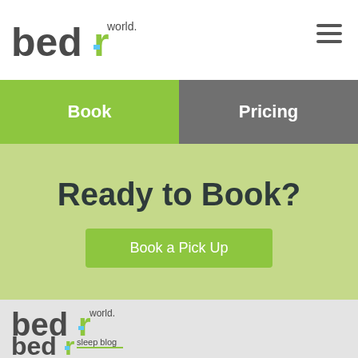bedr world. [logo] [hamburger menu]
Book | Pricing
Ready to Book?
Book a Pick Up
[Figure (logo): bedr world logo - large version in footer area]
[Figure (logo): bedr sleep blog logo - partial at bottom]